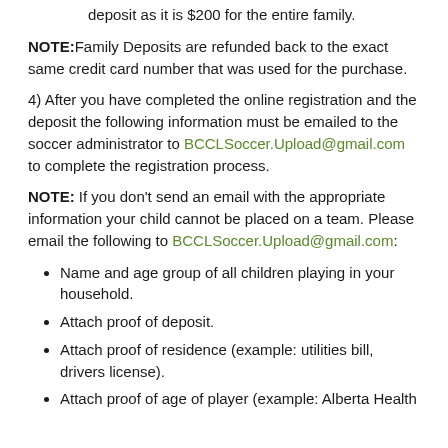deposit as it is $200 for the entire family.
NOTE: Family Deposits are refunded back to the exact same credit card number that was used for the purchase.
4) After you have completed the online registration and the deposit the following information must be emailed to the soccer administrator to BCCLSoccer.Upload@gmail.com to complete the registration process.
NOTE: If you don't send an email with the appropriate information your child cannot be placed on a team. Please email the following to BCCLSoccer.Upload@gmail.com:
Name and age group of all children playing in your household.
Attach proof of deposit.
Attach proof of residence (example: utilities bill, drivers license).
Attach proof of age of player (example: Alberta Health